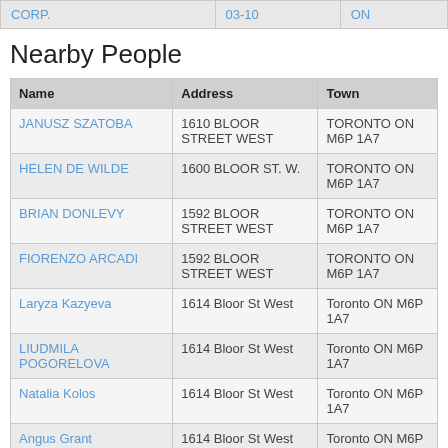|  | 03-10 | ON |
| --- | --- | --- |
| CORP. | 03-10 | ON |
Nearby People
| Name | Address | Town |
| --- | --- | --- |
| JANUSZ SZATOBA | 1610 BLOOR STREET WEST | TORONTO ON M6P 1A7 |
| HELEN DE WILDE | 1600 BLOOR ST. W. | TORONTO ON M6P 1A7 |
| BRIAN DONLEVY | 1592 BLOOR STREET WEST | TORONTO ON M6P 1A7 |
| FIORENZO ARCADI | 1592 BLOOR STREET WEST | TORONTO ON M6P 1A7 |
| Laryza Kazyeva | 1614 Bloor St West | Toronto ON M6P 1A7 |
| LIUDMILA POGORELOVA | 1614 Bloor St West | Toronto ON M6P 1A7 |
| Natalia Kolos | 1614 Bloor St West | Toronto ON M6P 1A7 |
| Angus Grant | 1614 Bloor St West | Toronto ON M6P 1A7 |